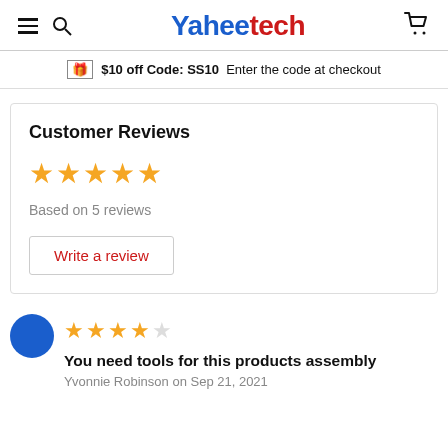Yaheetech
$10 off Code: SS10  Enter the code at checkout
Customer Reviews
Based on 5 reviews
Write a review
You need tools for this products assembly
Yvonnie Robinson on Sep 21, 2021